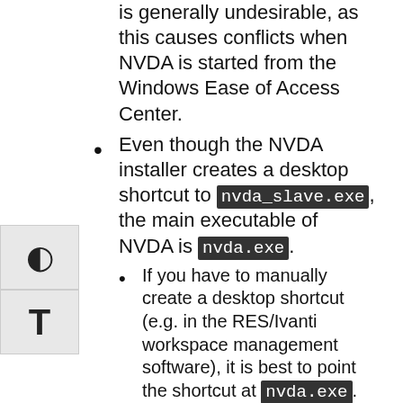is generally undesirable, as this causes conflicts when NVDA is started from the Windows Ease of Access Center.
Even though the NVDA installer creates a desktop shortcut to nvda_slave.exe, the main executable of NVDA is nvda.exe.
If you have to manually create a desktop shortcut (e.g. in the RES/Ivanti workspace management software), it is best to point the shortcut at nvda.exe.
It is also advised to provide the "-r" command line parameter. If this command line parameter is provided, activating the shortcut